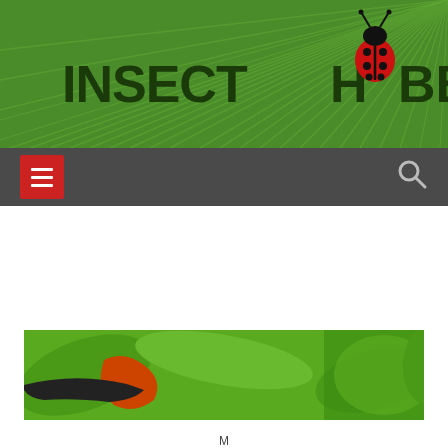[Figure (screenshot): Insect Hobbyist website header with green palm leaf background and bold dark green logo text reading INSECT HOBBYIST with a ladybug replacing the letter O]
[Figure (screenshot): Dark gray navigation bar with red hamburger menu button on left and search icon on right]
[Figure (photo): Partial photo of an insect (caterpillar or similar) on green leaves, used as article thumbnail]
M